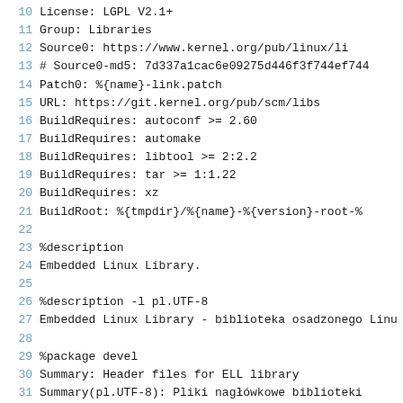10 License:         LGPL V2.1+
11 Group:            Libraries
12 Source0:          https://www.kernel.org/pub/linux/li
13 # Source0-md5:    7d337a1cac6e09275d446f3f744ef744
14 Patch0:           %{name}-link.patch
15 URL:              https://git.kernel.org/pub/scm/libs
16 BuildRequires:    autoconf >= 2.60
17 BuildRequires:    automake
18 BuildRequires:    libtool >= 2:2.2
19 BuildRequires:    tar >= 1:1.22
20 BuildRequires:    xz
21 BuildRoot:        %{tmpdir}/%{name}-%{version}-root-%
22
23 %description
24 Embedded Linux Library.
25
26 %description -l pl.UTF-8
27 Embedded Linux Library - biblioteka osadzonego Linu
28
29 %package devel
30 Summary:           Header files for ELL library
31 Summary(pl.UTF-8):       Pliki nagłówkowe biblioteki
32 Group:             Development/Libraries
33 Requires:          %{name} = %{version}-%{release}
34